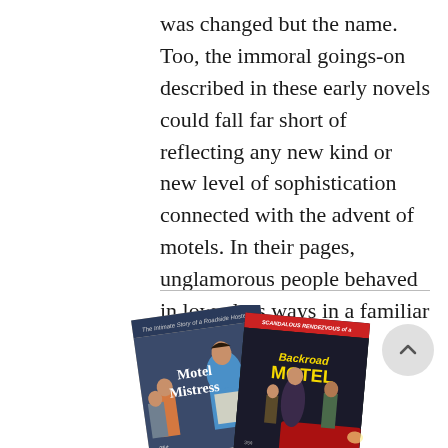was changed but the name. Too, the immoral goings-on described in these early novels could fall far short of reflecting any new kind or new level of sophistication connected with the advent of motels. In their pages, unglamorous people behaved in low-class ways in a familiar sleazy roadside setting.
[Figure (photo): Two vintage pulp fiction paperback book covers side by side. Left cover: 'Motel Mistress' - The Intimate Story of a Roadside Hostess, showing a woman in a blue dress with an apron surrounded by men. Right cover: 'Scandalous Rendezvous of a Backroad Motel' showing a woman and man in a dramatic scene near a car.]